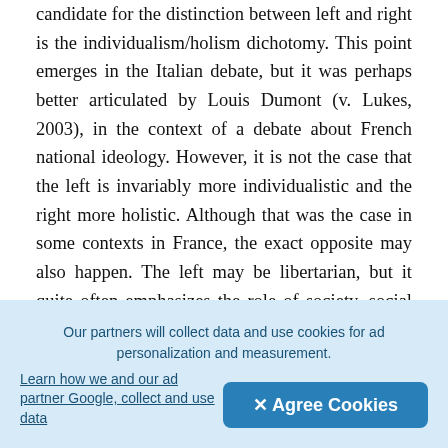candidate for the distinction between left and right is the individualism/holism dichotomy. This point emerges in the Italian debate, but it was perhaps better articulated by Louis Dumont (v. Lukes, 2003), in the context of a debate about French national ideology. However, it is not the case that the left is invariably more individualistic and the right more holistic. Although that was the case in some contexts in France, the exact opposite may also happen. The left may be libertarian, but it quite often emphasizes the role of society, social cl... social movement over the individual. The r... sometimes holistic, as in some forms of organic conservatism, but it may also be individualistic, to the point of declaring that “there is no such thing as
[Figure (other): Upload/add button UI element - dark rounded square with a circled plus icon]
Our partners will collect data and use cookies for ad personalization and measurement. Learn how we and our ad partner Google, collect and use data